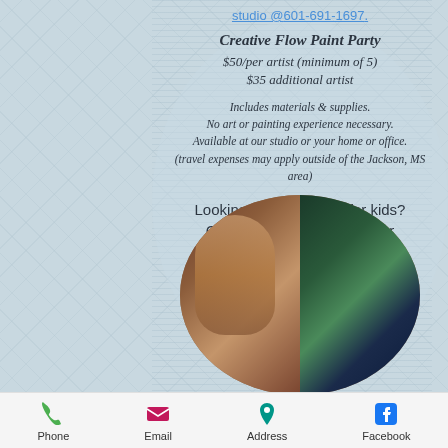studio @601-691-1697.
Creative Flow Paint Party
$50/per artist (minimum of 5)
$35 additional artist
Includes materials & supplies.
No art or painting experience necessary.
Available at our studio or your home or office.
(travel expenses may apply outside of the Jackson, MS area)
Looking for art classes for kids?
Click here to learn about our
Kidi-Zen Art Sessions
[Figure (photo): Circular cropped photo showing artwork paintings in a studio — a portrait of a woman with a white horse on the left panel, and a green/teal painting on the right panel]
Phone   Email   Address   Facebook